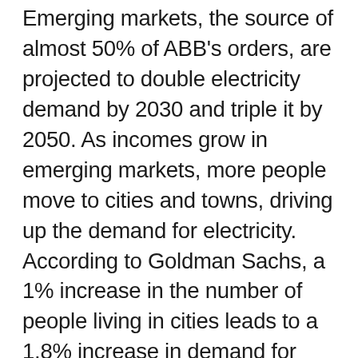Emerging markets, the source of almost 50% of ABB's orders, are projected to double electricity demand by 2030 and triple it by 2050. As incomes grow in emerging markets, more people move to cities and towns, driving up the demand for electricity. According to Goldman Sachs, a 1% increase in the number of people living in cities leads to a 1.8% increase in demand for electricity. And a 1% rise in income per head leads to a 0.5% increase in demand. Urbanization rates and per capita income in many of the largest emerging markets are only a fraction of what they are in the U.S. The potential here is enormous. Our chart, titled Electricity Demand, shows the